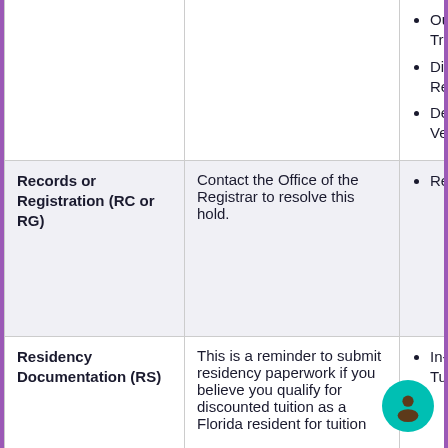| Hold Type | How to Resolve | Affects |
| --- | --- | --- |
| (partial/clipped row) | (partial/clipped row) | • Out
  Tra
• Dip
  Rel
• Deg
  Ver |
| Records or Registration
(RC or RG) | Contact the Office of the Registrar to resolve this hold. | • Rec |
| Residency Documentation
(RS) | This is a reminder to submit residency paperwork if you believe you qualify for discounted tuition as a Florida resident for tuition | • In-s
  Tuit |